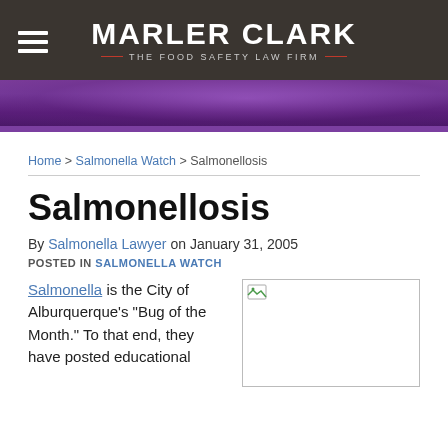MARLER CLARK — THE FOOD SAFETY LAW FIRM
[Figure (photo): Purple microscopic bacteria banner image]
Home > Salmonella Watch > Salmonellosis
Salmonellosis
By Salmonella Lawyer on January 31, 2005
POSTED IN SALMONELLA WATCH
Salmonella is the City of Alburquerque's "Bug of the Month." To that end, they have posted educational
[Figure (photo): Small image placeholder with broken image icon]